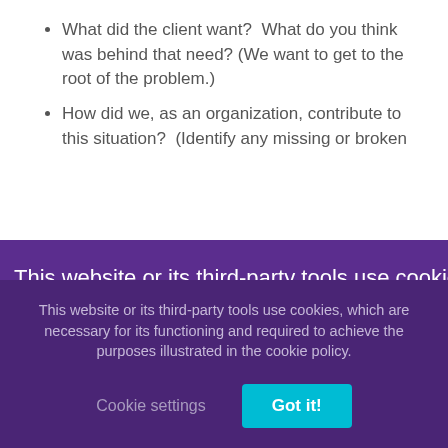What did the client want? What do you think was behind that need? (We want to get to the root of the problem.)
How did we, as an organization, contribute to this situation? (Identify any missing or broken
This website or its third-party tools use cookies, which are necessary for its functioning and required to achieve the purposes illustrated in the cookie policy. You accept the use of cookies by closing or dismissing this notice, by clicking a link or button or by continuing to browse otherwise.
This website or its third-party tools use cookies, which are necessary for its functioning and required to achieve the purposes illustrated in the cookie policy.
Cookie settings
Got it!